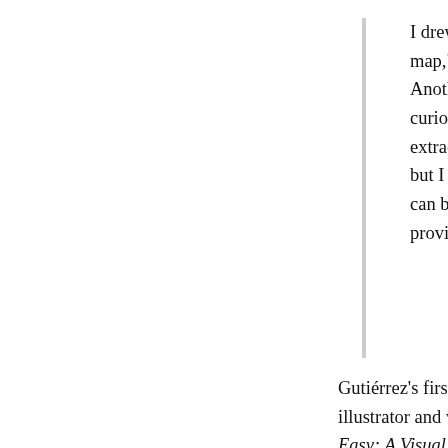I drew a bookshelf, and the lines made me think of a map," Luci Gutiérrez says, about her cover image. Another inspiration for her image: Wunderkammer, cabinets of curiosities created in the Renaissance to display extraordinary objects. "I don't have this particular cabinet, but I wish I did. I keep strange and pretty objects, which can be a chocolate paper wrapper or a Japanese toy to provide me with a way to remember the place the object is from."
Gutiérrez's first appearance on this blog. But she's a prolific illustrator and writer. Here's the Amazon writeup for her book English Made Easy: A Visual Guide to the Language:
A cheeky, sophisticated, and strikingly illustrated book that leaves generic English reference books in the dust
When prominent Barcelona-based illustrator Luci Gutiérrez found herself tuning out in English class, she used her artistic skills to help retain what she'd learned. Ditching the dry academic tone and useless phrases that fill most English textbooks, she invented whimsical characters, cheeky dialogue, and witty visuals to bring vocabulary, grammar, and usage topics to life.
Nearly forty-seven million people in the United States speak a language other than English at home, and even native English speakers struggle with subtle distinctions, such as using "whether" as opposed to "if." (For example...